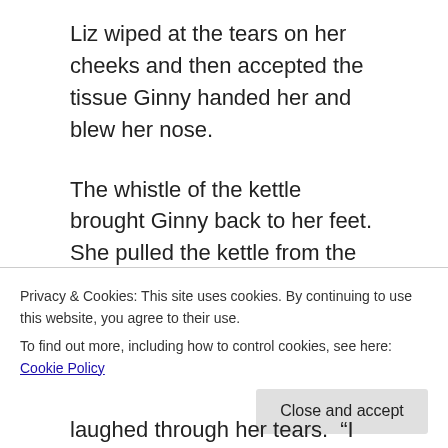Liz wiped at the tears on her cheeks and then accepted the tissue Ginny handed her and blew her nose.
The whistle of the kettle brought Ginny back to her feet. She pulled the kettle from the burner and poured the water in the waiting mugs. “The way you need to think about it is that Matt knows all these things about you, yet he still cares for you. That’s a good thing, isn’t it? It’s kind of like how God cares about us despite our failings.”
Privacy & Cookies: This site uses cookies. By continuing to use this website, you agree to their use.
To find out more, including how to control cookies, see here: Cookie Policy
laughed through her tears.  “I mean, I know half the